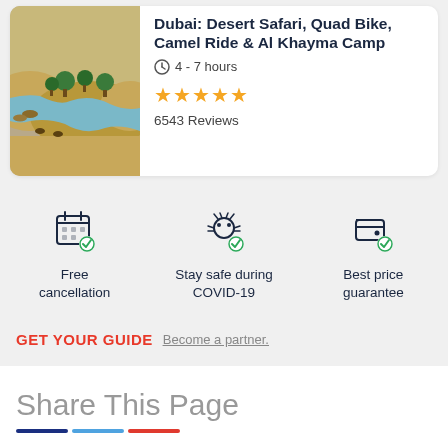Dubai: Desert Safari, Quad Bike, Camel Ride & Al Khayma Camp
4 - 7 hours
★★★★★
6543 Reviews
Free cancellation
Stay safe during COVID-19
Best price guarantee
GET YOUR GUIDE  Become a partner.
Share This Page